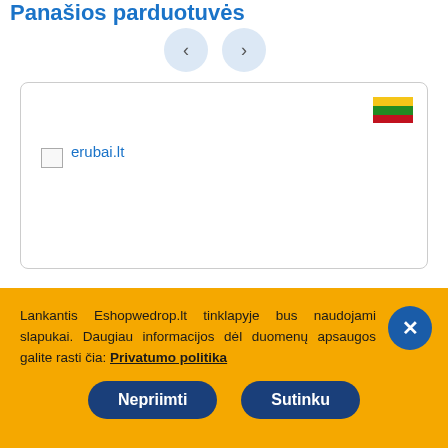Panašios parduotuvės
[Figure (screenshot): Navigation arrows (left and right) for carousel]
[Figure (screenshot): Store card showing Lithuanian flag and erubai.lt link with broken image placeholder]
erubai.lt
[Figure (logo): 0% VAT red circular badge]
Lankantis Eshopwedrop.lt tinklapyje bus naudojami slapukai. Daugiau informacijos dėl duomenų apsaugos galite rasti čia: Privatumo politika
Nepriimti
Sutinku